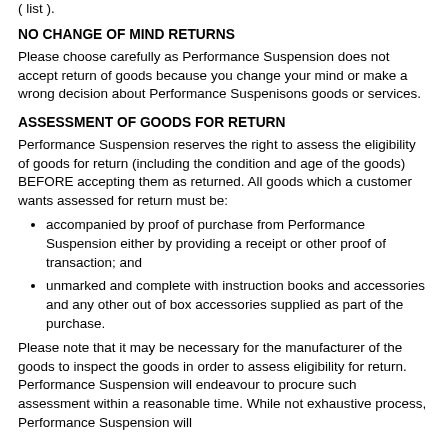( list ).
NO CHANGE OF MIND RETURNS
Please choose carefully as Performance Suspension does not accept return of goods because you change your mind or make a wrong decision about Performance Suspenisons goods or services.
ASSESSMENT OF GOODS FOR RETURN
Performance Suspension reserves the right to assess the eligibility of goods for return (including the condition and age of the goods) BEFORE accepting them as returned. All goods which a customer wants assessed for return must be:
accompanied by proof of purchase from Performance Suspension either by providing a receipt or other proof of transaction; and
unmarked and complete with instruction books and accessories and any other out of box accessories supplied as part of the purchase.
Please note that it may be necessary for the manufacturer of the goods to inspect the goods in order to assess eligibility for return. Performance Suspension will endeavour to procure such assessment within a reasonable time. While not exhaustive process, Performance Suspension will